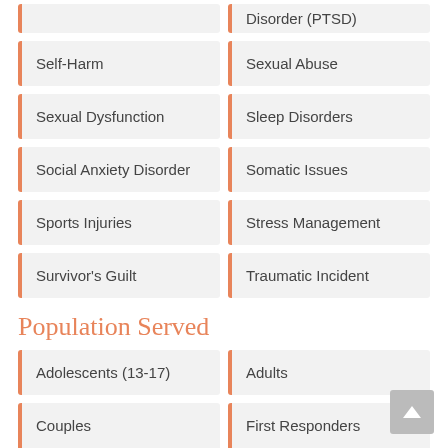Self-Harm
Sexual Abuse
Sexual Dysfunction
Sleep Disorders
Social Anxiety Disorder
Somatic Issues
Sports Injuries
Stress Management
Survivor's Guilt
Traumatic Incident
Population Served
Adolescents (13-17)
Adults
Couples
First Responders